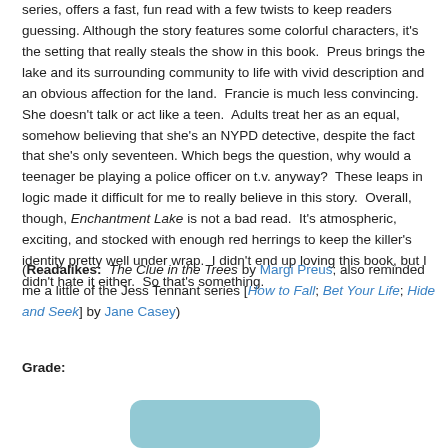series, offers a fast, fun read with a few twists to keep readers guessing. Although the story features some colorful characters, it's the setting that really steals the show in this book. Preus brings the lake and its surrounding community to life with vivid description and an obvious affection for the land. Francie is much less convincing. She doesn't talk or act like a teen. Adults treat her as an equal, somehow believing that she's an NYPD detective, despite the fact that she's only seventeen. Which begs the question, why would a teenager be playing a police officer on t.v. anyway? These leaps in logic made it difficult for me to really believe in this story. Overall, though, Enchantment Lake is not a bad read. It's atmospheric, exciting, and stocked with enough red herrings to keep the killer's identity pretty well under wrap. I didn't end up loving this book, but I didn't hate it either. So that's something.
(Readalikes: The Clue in the Trees by Margi Preus; also reminded me a little of the Jess Tennant series [How to Fall; Bet Your Life; Hide and Seek] by Jane Casey)
Grade:
[Figure (other): A rounded rectangle shape in a muted teal/blue color, partially visible at bottom of page.]